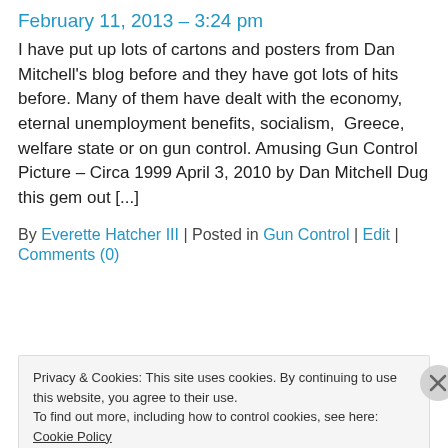February 11, 2013 – 3:24 pm
I have put up lots of cartons and posters from Dan Mitchell's blog before and they have got lots of hits before. Many of them have dealt with the economy, eternal unemployment benefits, socialism, Greece, welfare state or on gun control. Amusing Gun Control Picture – Circa 1999 April 3, 2010 by Dan Mitchell Dug this gem out [...]
By Everette Hatcher III | Posted in Gun Control | Edit | Comments (0)
Privacy & Cookies: This site uses cookies. By continuing to use this website, you agree to their use.
To find out more, including how to control cookies, see here: Cookie Policy